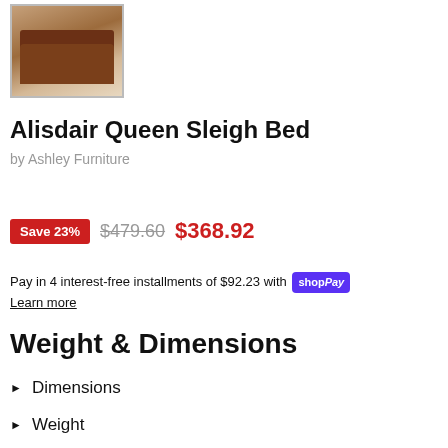[Figure (photo): Thumbnail image of the Alisdair Queen Sleigh Bed — dark cherry wood bed with white bedding, shown against a light background]
Alisdair Queen Sleigh Bed
by Ashley Furniture
Save 23%  $479.60  $368.92
Pay in 4 interest-free installments of $92.23 with shopPay
Learn more
Weight & Dimensions
Dimensions
Weight